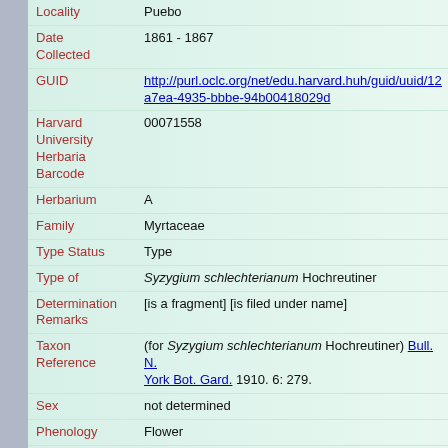| Field | Value |
| --- | --- |
| Locality | Puebo |
| Date Collected | 1861 - 1867 |
| GUID | http://purl.oclc.org/net/edu.harvard.huh/guid/uuid/125a7ea-4935-bbbe-94b00418029d |
| Harvard University Herbaria Barcode | 00071558 |
| Herbarium | A |
| Family | Myrtaceae |
| Type Status | Type |
| Type of | Syzygium schlechterianum Hochreutiner |
| Determination Remarks | [is a fragment] [is filed under name] |
| Taxon Reference | (for Syzygium schlechterianum Hochreutiner) Bull. N. York Bot. Gard. 1910. 6: 279. |
| Sex | not determined |
| Phenology | Flower |
| Preparation Type | Sheet |
| Preparation Method | Pressed |